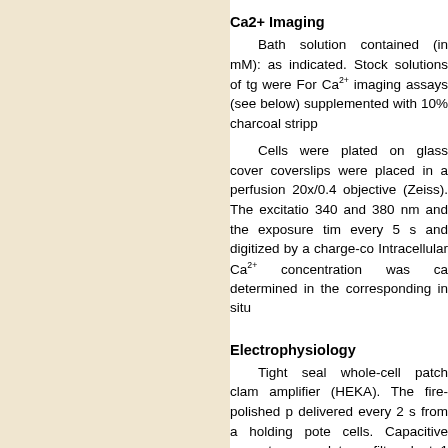[Figure (other): Left panel with beige/cream background, decorative or image area]
Ca2+ Imaging
Bath solution contained (in mM): as indicated. Stock solutions of tg were For Ca2+ imaging assays (see below) supplemented with 10% charcoal stripp
Cells were plated on glass cover coverslips were placed in a perfusion 20x/0.4 objective (Zeiss). The excitatio 340 and 380 nm and the exposure tim every 5 s and digitized by a charge-co Intracellular Ca2+ concentration was ca determined in the corresponding in situ
Electrophysiology
Tight seal whole-cell patch clam amplifier (HEKA). The fire-polished p delivered every 2 s from a holding pote cells. Capacitive currents were determ filtered at 1 kHz. All voltages were corr were subtracted and currents extracted
The bath solutions contained in m cells and 120 NaCl, 10 TEACl, 20 Ca osmolarity was 300 mosmol/L for cell li divalent free solution (DVF) MgCl2 and